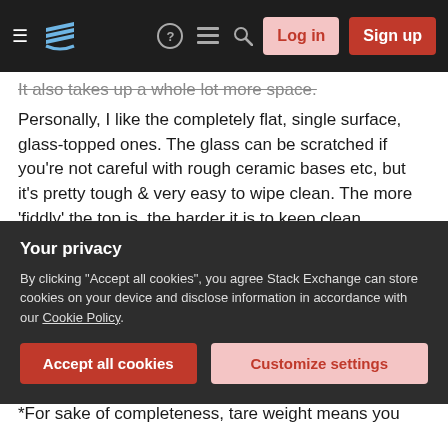Stack Exchange navigation header with hamburger menu, logo, help, chat, search icons, Log in and Sign up buttons
It also takes up a whole lot more space.
Personally, I like the completely flat, single surface, glass-topped ones. The glass can be scratched if you're not careful with rough ceramic bases etc, but it's pretty tough & very easy to wipe clean. The more 'fiddly' the top is, the harder it is to keep clean.
From comments
Some cheaper scales apparently cannot do negative weights - which is something I would very much miss. Apparently all modern Salter scales can
Your privacy
By clicking "Accept all cookies", you agree Stack Exchange can store cookies on your device and disclose information in accordance with our Cookie Policy.
Accept all cookies  Customize settings
*For sake of completeness, tare weight means you